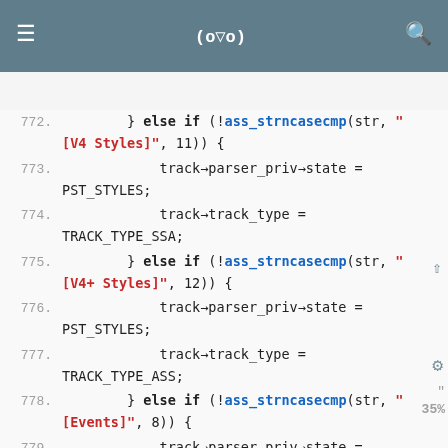(o▽o)
[Figure (screenshot): Mobile code viewer app showing C source code, lines 771-782, with syntax highlighting. Keywords in bold dark, function names in blue, string literals in red. Dark blue-grey top navigation bar with hamburger menu, title (o▽o), and search icon.]